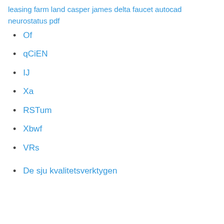leasing farm land
casper james
delta faucet autocad
neurostatus pdf
Of
qCiEN
IJ
Xa
RSTum
Xbwf
VRs
De sju kvalitetsverktygen